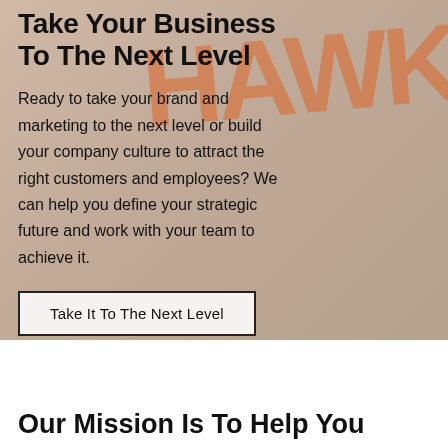Take Your Business To The Next Level
Ready to take your brand and marketing to the next level or build your company culture to attract the right customers and employees? We can help you define your strategic future and work with your team to achieve it.
Take It To The Next Level
Our Mission Is To Help You